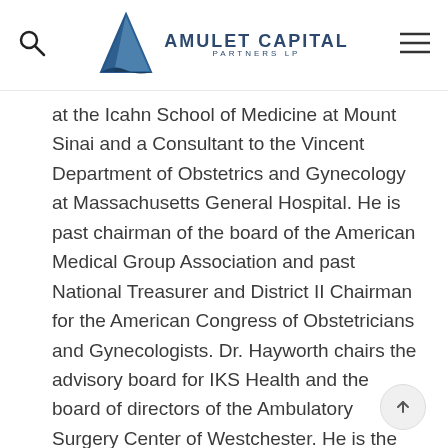Amulet Capital Partners LP
at the Icahn School of Medicine at Mount Sinai and a Consultant to the Vincent Department of Obstetrics and Gynecology at Massachusetts General Hospital. He is past chairman of the board of the American Medical Group Association and past National Treasurer and District II Chairman for the American Congress of Obstetricians and Gynecologists. Dr. Hayworth chairs the advisory board for IKS Health and the board of directors of the Ambulatory Surgery Center of Westchester. He is the President of the board of directors of Bedford Physicians Risk Retention Group. He